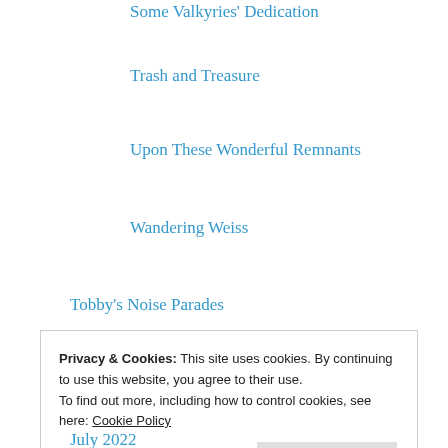Some Valkyries' Dedication
Trash and Treasure
Upon These Wonderful Remnants
Wandering Weiss
Tobby's Noise Parades
Tobby's Original Fiction
Prompted Short Stories
Tobby's Poems
Tobby's Translations
TRYs: Tobby's Recommendation Yells
Privacy & Cookies: This site uses cookies. By continuing to use this website, you agree to their use.
To find out more, including how to control cookies, see here: Cookie Policy
Close and accept
July 2022